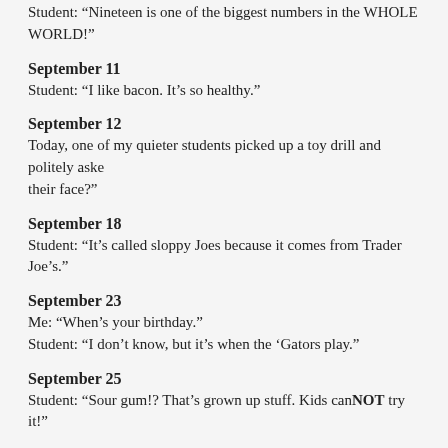Student: “Nineteen is one of the biggest numbers in the WHOLE WORLD!”
September 11
Student: “I like bacon. It’s so healthy.”
September 12
Today, one of my quieter students picked up a toy drill and politely asked their face?”
September 18
Student: “It’s called sloppy Joes because it comes from Trader Joe’s.”
September 23
Me: “When’s your birthday.”
Student: “I don’t know, but it’s when the ‘Gators play.”
September 25
Student: “Sour gum!? That’s grown up stuff. Kids canNOT try it!”
September 26
Today a student asked me to rip a page from a coloring book, then comp“Gooood rippin’!”